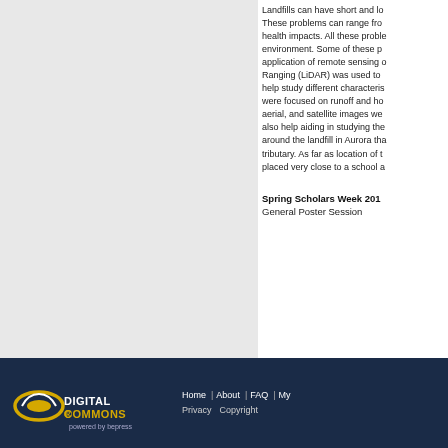Landfills can have short and lo... These problems can range fro... health impacts. All these proble... environment. Some of these p... application of remote sensing o... Ranging (LiDAR) was used to... help study different characteris... were focused on runoff and ho... aerial, and satellite images we... also help aiding in studying the... around the landfill in Aurora tha... tributary. As far as location of t... placed very close to a school a...
Spring Scholars Week 201...
General Poster Session
Digital Commons powered by bepress | Home | About | FAQ | My... | Privacy | Copyright